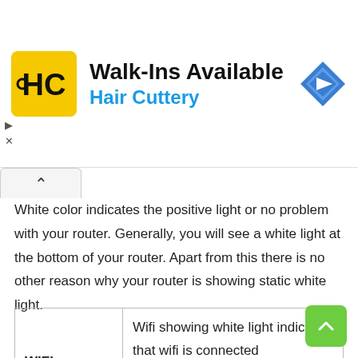[Figure (logo): Hair Cuttery advertisement banner with HC yellow logo, 'Walk-Ins Available' title, 'Hair Cuttery' subtitle in blue, and a blue navigation diamond icon]
White color indicates the positive light or no problem with your router. Generally, you will see a white light at the bottom of your router. Apart from this there is no other reason why your router is showing static white light.
| WIFI: | Wifi showing white light indicates that wifi is connected successfully and does not have any problem. |
|  | White light on the power symbols |